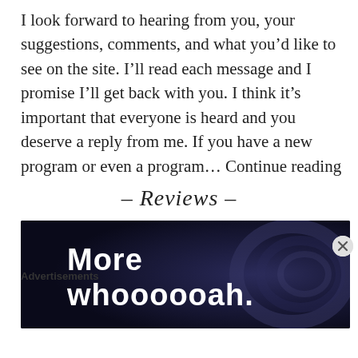I look forward to hearing from you, your suggestions, comments, and what you'd like to see on the site. I'll read each message and I promise I'll get back with you. I think it's important that everyone is heard and you deserve a reply from me. If you have a new program or even a program… Continue reading
– Reviews –
[Figure (photo): Dark blue/purple advertisement image with bold white text reading 'More whoooooah.']
Advertisements